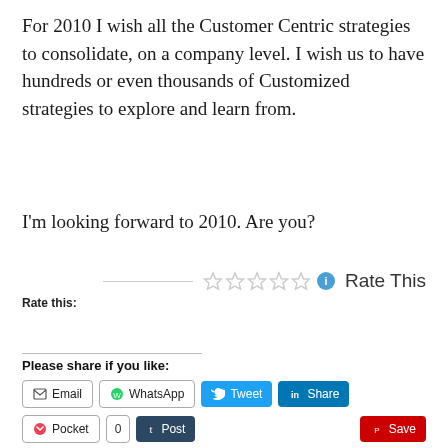For 2010 I wish all the Customer Centric strategies to consolidate, on a company level. I wish us to have hundreds or even thousands of Customized strategies to explore and learn from.
I'm looking forward to 2010. Are you?
Rate this: ☆☆☆☆☆ ⓘ Rate This
Please share if you like:
Email | WhatsApp | Tweet | Share | Pocket | 0 | t Post | Save